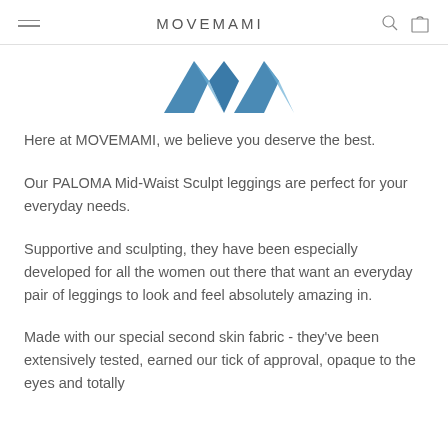MOVEMAMI
[Figure (logo): Partial blue geometric logo mark showing two angular arrow/chevron shapes pointing upward, cut off at top]
Here at MOVEMAMI, we believe you deserve the best.
Our PALOMA Mid-Waist Sculpt leggings are perfect for your everyday needs.
Supportive and sculpting, they have been especially developed for all the women out there that want an everyday pair of leggings to look and feel absolutely amazing in.
Made with our special second skin fabric - they've been extensively tested, earned our tick of approval, opaque to the eyes and totally